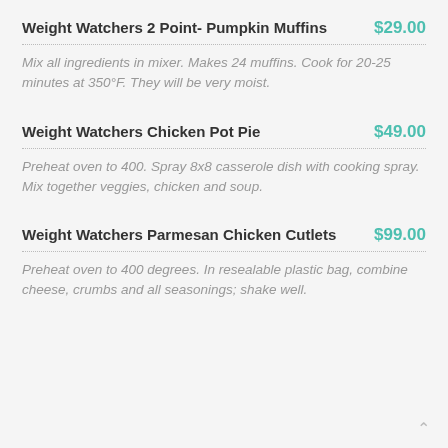Weight Watchers 2 Point- Pumpkin Muffins
$29.00
Mix all ingredients in mixer. Makes 24 muffins. Cook for 20-25 minutes at 350°F. They will be very moist.
Weight Watchers Chicken Pot Pie
$49.00
Preheat oven to 400. Spray 8x8 casserole dish with cooking spray. Mix together veggies, chicken and soup.
Weight Watchers Parmesan Chicken Cutlets
$99.00
Preheat oven to 400 degrees. In resealable plastic bag, combine cheese, crumbs and all seasonings; shake well.